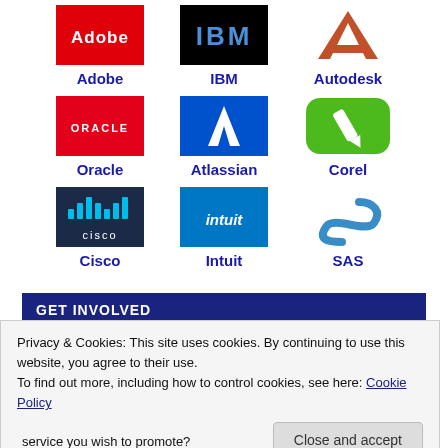[Figure (logo): Grid of software company logos: Adobe, IBM, Autodesk (row 1); Oracle, Atlassian, Corel (row 2); Cisco, Intuit, SAS (row 3), each with company name below in dark blue bold text]
GET INVOLVED
Privacy & Cookies: This site uses cookies. By continuing to use this website, you agree to their use.
To find out more, including how to control cookies, see here: Cookie Policy
Close and accept
service you wish to promote?